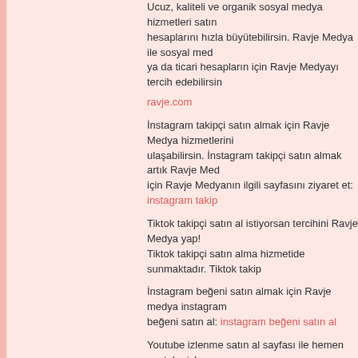Ucuz, kaliteli ve organik sosyal medya hizmetleri satın hesaplarını hızla büyütebilirsin. Ravje Medya ile sosyal med ya da ticari hesapların için Ravje Medyayı tercih edebilirsin
ravje.com
İnstagram takipçi satın almak için Ravje Medya hizmetlerini ulaşabilirsin. İnstagram takipçi satın almak artık Ravje Med için Ravje Medyanın ilgili sayfasını ziyaret et: instagram takip
Tiktok takipçi satın al istiyorsan tercihini Ravje Medya yap! Tiktok takipçi satın alma hizmetide sunmaktadır. Tiktok takip
İnstagram beğeni satın almak için Ravje medya instagram beğeni satın al: instagram beğeni satın al
Youtube izlenme satın al sayfası ile hemen youtube izlenme almak için tıklayın: youtube izlenme satın al
Twitter takipçi satın almak istiyorsan Ravje medya twitter tak twitter takipçi satın al: twitter takipçi satın al
Reply
Unknown  8:22 pm, April 06, 2022
seo fiyatları
saç ekimi